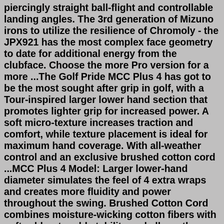piercingly straight ball-flight and controllable landing angles. The 3rd generation of Mizuno irons to utilize the resilience of Chromoly - the JPX921 has the most complex face geometry to date for additional energy from the clubface. Choose the more Pro version for a more ...The Golf Pride MCC Plus 4 has got to be the most sought after grip in golf, with a Tour-inspired larger lower hand section that promotes lighter grip for increased power. A soft micro-texture increases traction and comfort, while texture placement is ideal for maximum hand coverage. With all-weather control and an exclusive brushed cotton cord ...MCC Plus 4 Model: Larger lower-hand diameter simulates the feel of 4 extra wraps and creates more fluidity and power throughout the swing. Brushed Cotton Cord combines moisture-wicking cotton fibers with soft rubber to add stability and all-weather control. Soft micro texture increases traction and comfort and is placed to maximize hand coverage.Our Address: 412 Des Meurons St. Winnipeg, Manitoba R2H 2N9, Canada. Phone: (204) 227-3122 Toll Free: 1-877-740-